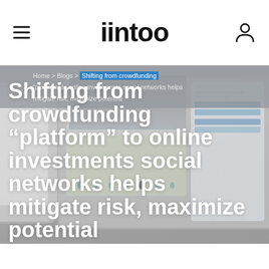iintoo
Home > Blogs > Shifting from crowdfunding “platform” to online investments social networks helps mitigate risk, maximize potential
Shifting from crowdfunding “platform” to online investments social networks helps mitigate risk, maximize potential
[Figure (screenshot): Background screenshot of the iintoo investment platform interface showing tablet/device screens with map and property listings]